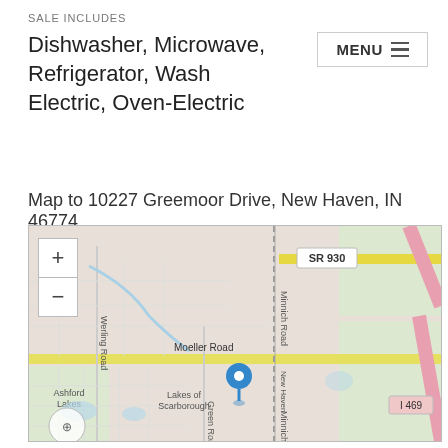SALE INCLUDES
Dishwasher, Microwave, Refrigerator, Washer-Electric, Oven-Electric
Map to 10227 Greemoor Drive, New Haven, IN 46774
[Figure (map): Street map showing location of 10227 Greemoor Drive, New Haven, IN 46774. Map shows surrounding roads including SR 930, Minnich Road, New Haven Avenue, Moeller Road, Green Road, Werling Road, and I-469. Blue location pin marks the property. Neighborhoods labeled include Ashford Lakes and Lakes of Scarborough. Map includes zoom in/out controls.]